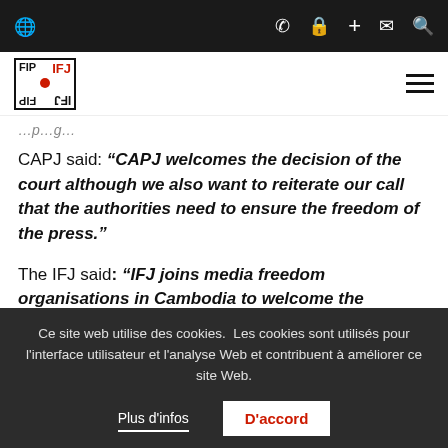IFJ navigation bar with logo and icons
CAPJ said: "CAPJ welcomes the decision of the court although we also want to reiterate our call that the authorities need to ensure the freedom of the press."
The IFJ said: "IFJ joins media freedom organisations in Cambodia to welcome the decision of the Phnom Penh Municipal Court. But the authorities should not arrest..."
Ce site web utilise des cookies. Les cookies sont utilisés pour l'interface utilisateur et l'analyse Web et contribuent à améliorer ce site Web. Plus d'infos / D'accord